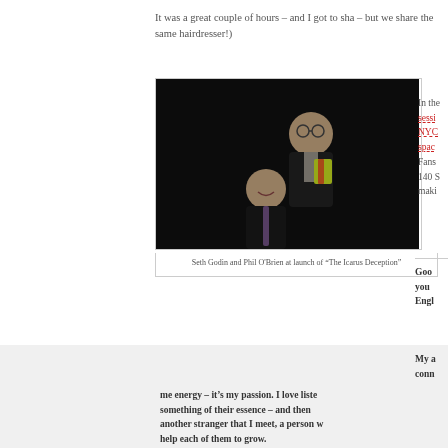It was a great couple of hours – and I got to sha... – but we share the same hairdresser!)
[Figure (photo): Photo of Seth Godin and Phil O'Brien at the launch of 'The Icarus Deception', two men in dark suits against a dark background]
Seth Godin and Phil O'Brien at launch of "The Icarus Deception"
In the... sessi... NYC... spac... Fans... 140 S... maki...
Good... you ... Engl...
My a... conn... me energy – it's my passion. I love liste... something of their essence – and then ... another stranger that I meet, a person w... help each of them to grow.